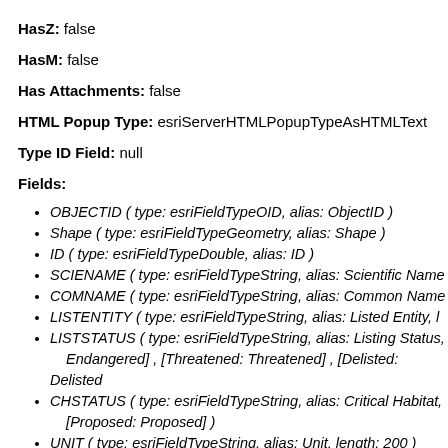HasZ: false
HasM: false
Has Attachments: false
HTML Popup Type: esriServerHTMLPopupTypeAsHTMLText
Type ID Field: null
Fields:
OBJECTID ( type: esriFieldTypeOID, alias: ObjectID )
Shape ( type: esriFieldTypeGeometry, alias: Shape )
ID ( type: esriFieldTypeDouble, alias: ID )
SCIENAME ( type: esriFieldTypeString, alias: Scientific Name
COMNAME ( type: esriFieldTypeString, alias: Common Name
LISTENTITY ( type: esriFieldTypeString, alias: Listed Entity, l
LISTSTATUS ( type: esriFieldTypeString, alias: Listing Status, [Endangered: Endangered] , [Threatened: Threatened] , [Delisted: Delisted
CHSTATUS ( type: esriFieldTypeString, alias: Critical Habitat, [Proposed: Proposed] )
UNIT ( type: esriFieldTypeString, alias: Unit, length: 200 )
TAXON ( type: esriFieldTypeString, alias: Taxon, length: 50 , [whale: toothed whale] , [fish: fish] , ...4 more... )
LEADOFFICE ( type: esriFieldTypeString, alias: Lead Office